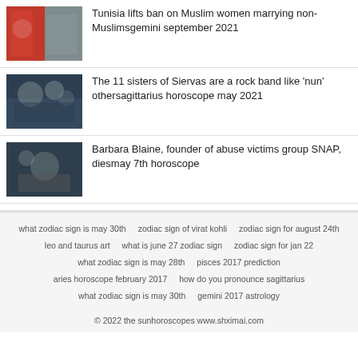Tunisia lifts ban on Muslim women marrying non-Muslimsgemini september 2021
The 11 sisters of Siervas are a rock band like 'nun' othersagittarius horoscope may 2021
Barbara Blaine, founder of abuse victims group SNAP, diesmay 7th horoscope
what zodiac sign is may 30th   zodiac sign of virat kohli   zodiac sign for august 24th   leo and taurus art   what is june 27 zodiac sign   zodiac sign for jan 22   what zodiac sign is may 28th   pisces 2017 prediction   aries horoscope february 2017   how do you pronounce sagittarius   what zodiac sign is may 30th   gemini 2017 astrology
© 2022 the sunhoroscopes www.shximai.com